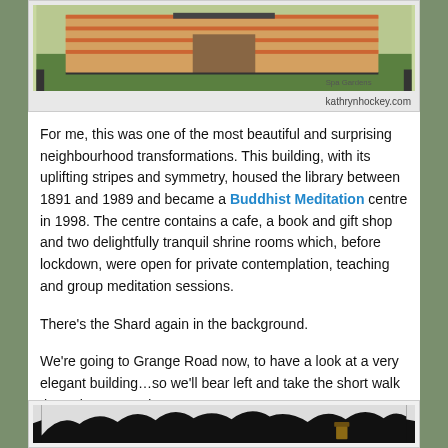[Figure (illustration): Illustrated artwork of a building with stripes and iron fence, Spa Gardens scene. Credit: kathrynhockey.com]
For me, this was one of the most beautiful and surprising neighbourhood transformations. This building, with its uplifting stripes and symmetry, housed the library between 1891 and 1989 and became a Buddhist Meditation centre in 1998. The centre contains a cafe, a book and gift shop and two delightfully tranquil shrine rooms which, before lockdown, were open for private contemplation, teaching and group meditation sessions.
There's the Shard again in the background.
We're going to Grange Road now, to have a look at a very elegant building…so we'll bear left and take the short walk through Spa Gardens.
[Figure (illustration): Black and white image with snow/white crumpled paper effect at top, dark background below with a small figure visible.]